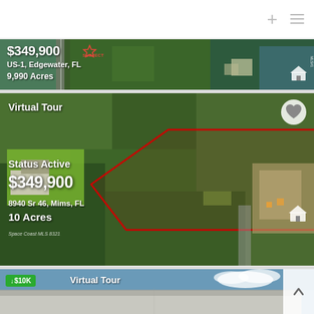[Figure (screenshot): Top navigation bar with plus and hamburger menu icons]
[Figure (photo): Aerial satellite view of land parcel in Edgewater FL, showing $349,900 price, US-1 address, 9.990 Acres]
[Figure (photo): Aerial satellite photo of 10-acre wooded land parcel with red boundary polygon overlay in Mims FL. Shows Status Active, $349,900 price, 8940 Sr 46 address, Virtual Tour label and heart icon. Space Coast MLS attribution.]
[Figure (screenshot): Partial view of third listing card with $10K price drop badge, Virtual Tour label, and scroll-up arrow button. Shows rooftop and blue sky.]